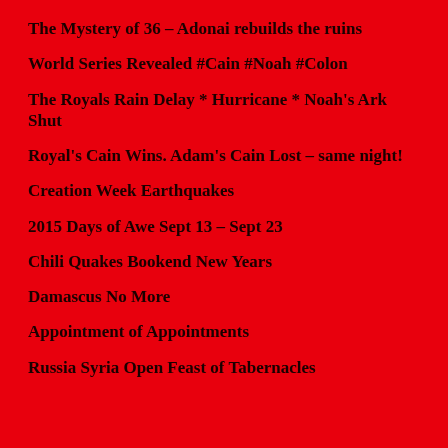The Mystery of 36 – Adonai rebuilds the ruins
World Series Revealed #Cain #Noah #Colon
The Royals Rain Delay * Hurricane * Noah's Ark Shut
Royal's Cain Wins. Adam's Cain Lost – same night!
Creation Week Earthquakes
2015 Days of Awe Sept 13 – Sept 23
Chili Quakes Bookend New Years
Damascus No More
Appointment of Appointments
Russia Syria Open Feast of Tabernacles